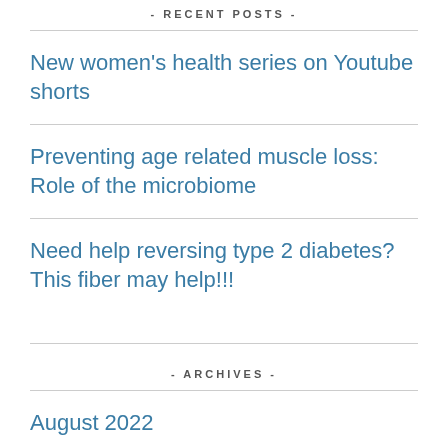- RECENT POSTS -
New women's health series on Youtube shorts
Preventing age related muscle loss: Role of the microbiome
Need help reversing type 2 diabetes? This fiber may help!!!
- ARCHIVES -
August 2022
July 2022